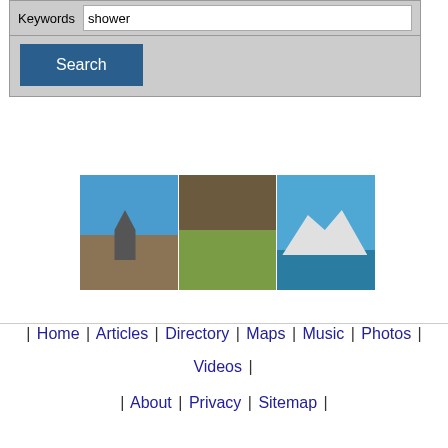[Figure (screenshot): Search form with Keywords field containing 'shower' and a blue Search button, on grey background]
[Figure (photo): Three landscape photos side by side: a church building with blue sky, sheep grazing in a green field, and snow-capped mountains with a lake]
| Home | Articles | Directory | Maps | Music | Photos | Videos | | About | Privacy | Sitemap |